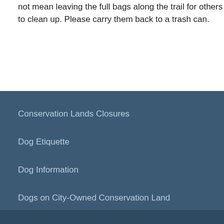not mean leaving the full bags along the trail for others to clean up. Please carry them back to a trash can.
Conservation Lands Closures
Dog Etiquette
Dog Information
Dogs on City-Owned Conservation Land